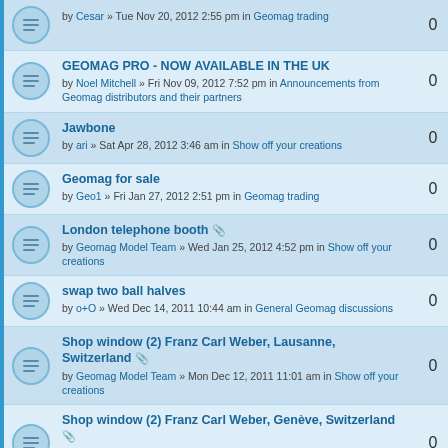by Cesar » Tue Nov 20, 2012 2:55 pm in Geomag trading | 0
GEOMAG PRO - NOW AVAILABLE IN THE UK
by Noel Mitchell » Fri Nov 09, 2012 7:52 pm in Announcements from Geomag distributors and their partners | 0
Jawbone
by ari » Sat Apr 28, 2012 3:46 am in Show off your creations | 0
Geomag for sale
by Geo1 » Fri Jan 27, 2012 2:51 pm in Geomag trading | 0
London telephone booth [attachment]
by Geomag Model Team » Wed Jan 25, 2012 4:52 pm in Show off your creations | 0
swap two ball halves
by o+O » Wed Dec 14, 2011 10:44 am in General Geomag discussions | 0
Shop window (2) Franz Carl Weber, Lausanne, Switzerland [attachment]
by Geomag Model Team » Mon Dec 12, 2011 11:01 am in Show off your creations | 0
Shop window (2) Franz Carl Weber, Genève, Switzerland [attachment]
by Geomag Model Team » Mon Dec 12, 2011 10:58 am in Show off your creations | 0
Shop window (2) Franz Carl Weber, Zürich, Switzerland [attachment]
by Geomag Model Team » Wed Nov 30, 2011 11:12 am in Show off your creations | 0
Shop window (2) Pastorini Spielzeug, Zürich, Switzerland [attachment] | 0